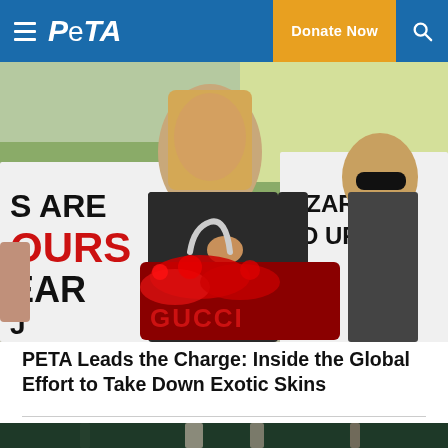PETA — Donate Now
[Figure (photo): Woman in black jacket holding a red-splattered Gucci handbag at a protest, with signs reading 'LIZARDS BLED UP' and 'S ARE OURS HEAR' visible behind her. PETA logo watermark visible.]
PETA Leads the Charge: Inside the Global Effort to Take Down Exotic Skins
[Figure (photo): Partial photo of trees/forest in dark green tones, cropped at page bottom.]